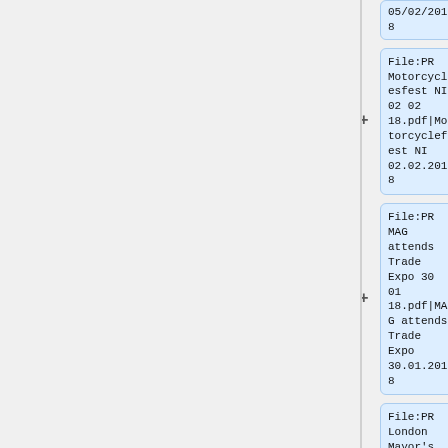05/02/2018 (truncated at top)
File:PR Motorcyclesfest NI 02 02 18.pdf|Motorcyclefest NI 02.02.2018
File:PR MAG attends Trade Expo 30 01 18.pdf|MAG attends Trade Expo 30.01.2018
File:PR London Mayor's Summit 26 01 18.pdf|Lord